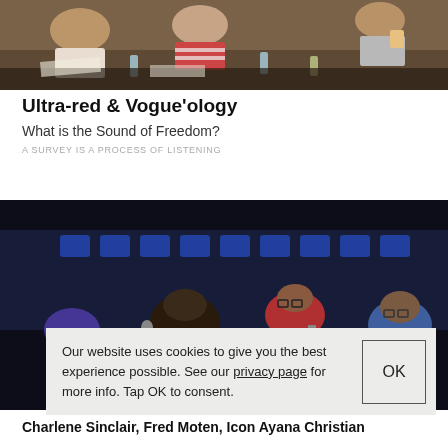[Figure (photo): Group of people sitting around a table in a workshop or meeting setting, viewed from above. People are working with papers and water bottles on the table.]
Ultra-red & Vogue'ology
What is the Sound of Freedom?
A SURVEY IS A PROCESS OF LISTENING
[Figure (photo): Audience members seated in a darkened auditorium with blue chairs. A woman in a red jacket is visible in the center, along with other attendees.]
Our website uses cookies to give you the best experience possible. See our privacy page for more info. Tap OK to consent.
Charlene Sinclair, Fred Moten, Icon Ayana Christian